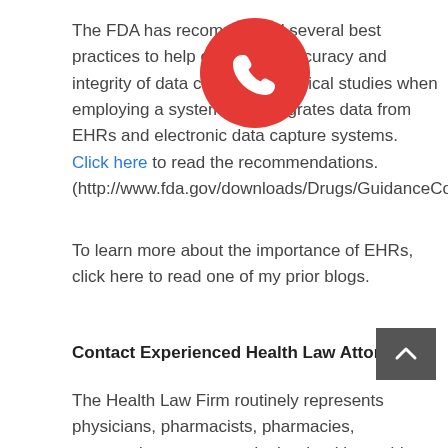The FDA has recommended several best practices to help ensure the accuracy and integrity of data collected in clinical studies when employing a system that integrates data from EHRs and electronic data capture systems. Click here to read the recommendations. (http://www.fda.gov/downloads/Drugs/GuidanceComplianceR...
To learn more about the importance of EHRs, click here to read one of my prior blogs.
Contact Experienced Health Law Attorneys.
The Health Law Firm routinely represents physicians, pharmacists, pharmacies, optometrists, nurses and other health providers in investigations, regulatory matters, licensing issues, litigation, NPDB actions, inspections and audits involving the Drug Enforcement Administration (DEA), Federal Bureau of Investigation (FBI), Department of Health (DOH) and other law